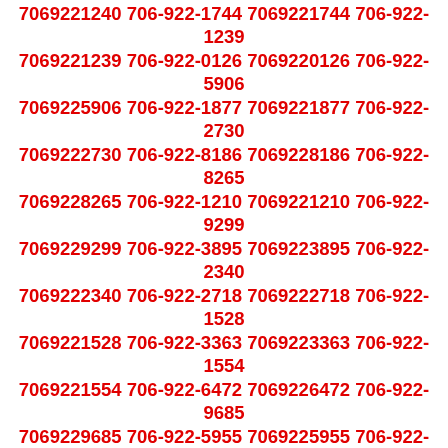7069221240 706-922-1744 7069221744 706-922-1239 7069221239 706-922-0126 7069220126 706-922-5906 7069225906 706-922-1877 7069221877 706-922-2730 7069222730 706-922-8186 7069228186 706-922-8265 7069228265 706-922-1210 7069221210 706-922-9299 7069229299 706-922-3895 7069223895 706-922-2340 7069222340 706-922-2718 7069222718 706-922-1528 7069221528 706-922-3363 7069223363 706-922-1554 7069221554 706-922-6472 7069226472 706-922-9685 7069229685 706-922-5955 7069225955 706-922-5672 7069225672 706-922-4505 7069224505 706-922-1779 7069221779 706-922-6281 7069226281 706-922-3637 7069223637 706-922-6684 7069226684 706-922-7256 7069227256 706-922-3771 7069223771 706-922-6303 7069226303 706-922-8439 7069228439 706-922-4081 7069224081 706-922-8374 7069228374 706-922-9924 7069229924 706-922-2038 7069222038 706-922-8436 7069228436 706-922-1901 7069221901 706-922-9875 7069229875 706-922-1194 7069221194 706-922-4196 7069224196 706-922-2260 7069222260 706-922-4108 7069224108 706-922-2500 7069222500 706-922-8476 7069228476 706-922-5240 7069225240 706-922-4211 7069224211 706-922-4406 7069224406 706-922-3515 7069223515 706-922-5660 7069225660 706-922-7732 7069227732 706-922-9666 7069229666 706-922-0586 7069229586 706-922-0169 7069220169 706-922-0269